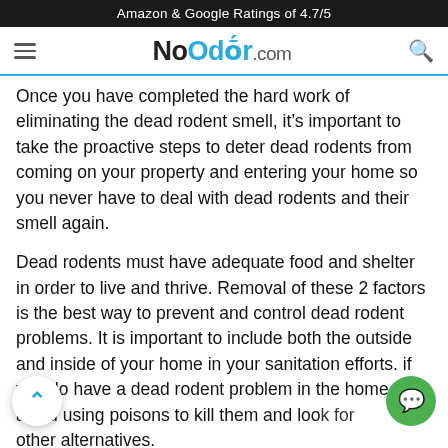Amazon & Google Ratings of 4.7/5
NoOdor.com
Once you have completed the hard work of eliminating the dead rodent smell, it’s important to take the proactive steps to deter dead rodents from coming on your property and entering your home so you never have to deal with dead rodents and their smell again.
Dead rodents must have adequate food and shelter in order to live and thrive. Removal of these 2 factors is the best way to prevent and control dead rodent problems. It is important to include both the outside and inside of your home in your sanitation efforts. if you do have a dead rodent problem in the home, avoid using poisons to kill them and look for other alternatives.